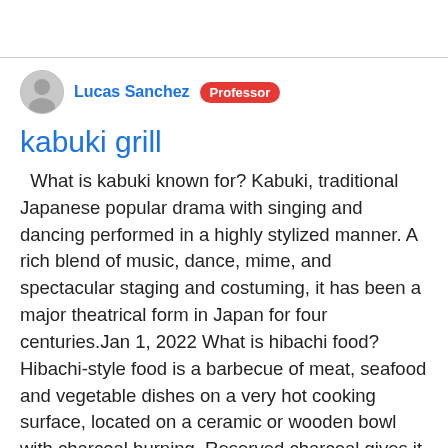Lucas Sanchez  Professor
kabuki grill
What is kabuki known for? Kabuki, traditional Japanese popular drama with singing and dancing performed in a highly stylized manner. A rich blend of music, dance, mime, and spectacular staging and costuming, it has been a major theatrical form in Japan for four centuries.Jan 1, 2022 What is hibachi food? Hibachi-style food is a barbecue of meat, seafood and vegetable dishes on a very hot cooking surface, located on a ceramic or wooden bowl with charcoal burning. Reserved charcoal gives it unique flavor. The main attraction of Hibachi catering is entertainment. Where is kabuki performed?The acting in Kabuki can be so